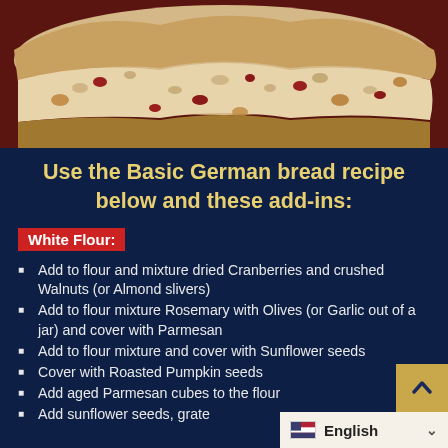[Figure (photo): Close-up cross-section of German bread with dried cranberries, walnuts, and other add-ins, on a dark reddish-brown background]
Use the Basic German bread recipe below and these add-ins:
White Flour:
Add to flour and mixture dried Cranberries and crushed Walnuts (or Almond slivers)
Add to flour mixture Rosemary with Olives (or Garlic out of a jar) and cover with Parmesan
Add to flour mixture and cover with Sunflower seeds
Cover with Roasted Pumpkin seeds
Add aged Parmesan cubes to the flour
Add sunflower seeds, grated…
English